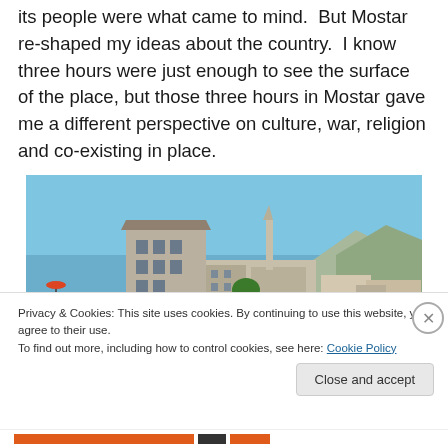its people were what came to mind.  But Mostar re-shaped my ideas about the country.  I know three hours were just enough to see the surface of the place, but those three hours in Mostar gave me a different perspective on culture, war, religion and co-existing in place.
[Figure (photo): Photograph of Mostar, Bosnia, showing the Old Bridge area with stone buildings, a minaret in the background, people on the bridge, shops and green awnings, and mountains under a blue sky.]
Privacy & Cookies: This site uses cookies. By continuing to use this website, you agree to their use.
To find out more, including how to control cookies, see here: Cookie Policy
Close and accept